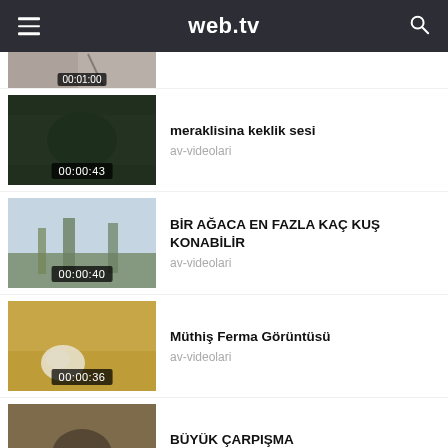web.tv
[Figure (screenshot): Partial video thumbnail (cropped at top), duration 00:01:00]
meraklisina keklik sesi | av-videolari | 00:00:43
BİR AĞACA EN FAZLA KAÇ KUŞ KONABİLİR | av-videolari | 00:00:40
Müthiş Ferma Görüntüsü | av-videolari | 00:00:36
BÜYÜK ÇARPIŞMA | av-videolari | 00:00:09